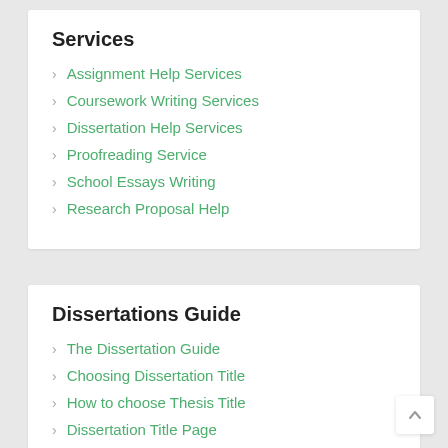Services
Assignment Help Services
Coursework Writing Services
Dissertation Help Services
Proofreading Service
School Essays Writing
Research Proposal Help
Dissertations Guide
The Dissertation Guide
Choosing Dissertation Title
How to choose Thesis Title
Dissertation Title Page
Dissertation Titles
Abstract in an dissertation